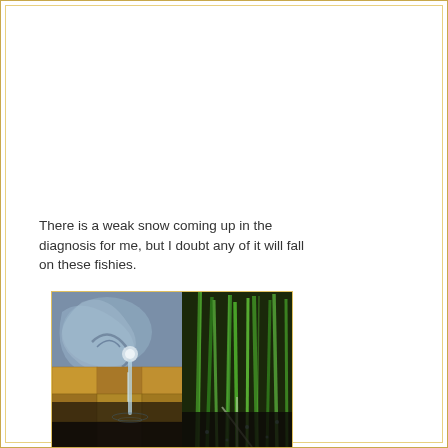There is a weak snow coming up in the diagnosis for me, but I doubt any of it will fall on these fishies.
[Figure (photo): Outdoor pond or water feature showing a decorative mosaic/mural with swirling blue-grey patterns and golden/brown tiles, a stream of water flowing, tall green reeds or grass plants on the right, and a dark water pool at the bottom.]